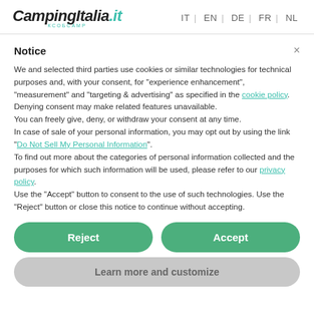CampingItalia.it KCOБCAMP | IT | EN | DE | FR | NL
Notice
We and selected third parties use cookies or similar technologies for technical purposes and, with your consent, for "experience enhancement", "measurement" and "targeting & advertising" as specified in the cookie policy. Denying consent may make related features unavailable.
You can freely give, deny, or withdraw your consent at any time.
In case of sale of your personal information, you may opt out by using the link "Do Not Sell My Personal Information".
To find out more about the categories of personal information collected and the purposes for which such information will be used, please refer to our privacy policy.
Use the "Accept" button to consent to the use of such technologies. Use the "Reject" button or close this notice to continue without accepting.
Reject
Accept
Learn more and customize